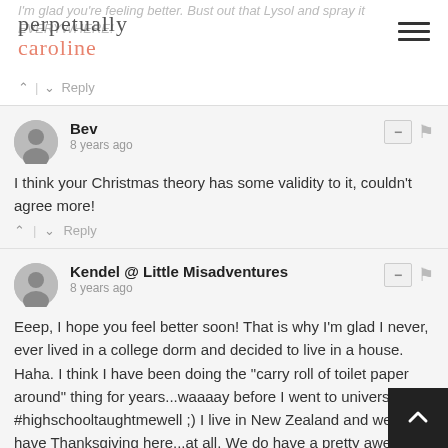perpetually caroline
I'm glad you're feeling better. Bust out that Lysol and spray it EVERYWHERE!
^ | v Reply
Bev
8 years ago
I think your Christmas theory has some validity to it, couldn't agree more!
^ | v Reply
Kendel @ Little Misadventures
8 years ago
Eeep, I hope you feel better soon! That is why I'm glad I never, ever lived in a college dorm and decided to live in a house. Haha. I think I have been doing the "carry roll of toilet paper around" thing for years...waaaay before I went to university #highschooltaughtmewell ;) I live in New Zealand and we don't have Thanksgiving here...at all. We do have a pretty awesome Christmas spread though, so it's kiiiiinda the same. I agree with you (and Jord above me) that blogging g... so impassioned. I swear I start to babble at a hundred miles a m... until I'm unintelligible. Haha. I really do love it. I love the fact that I